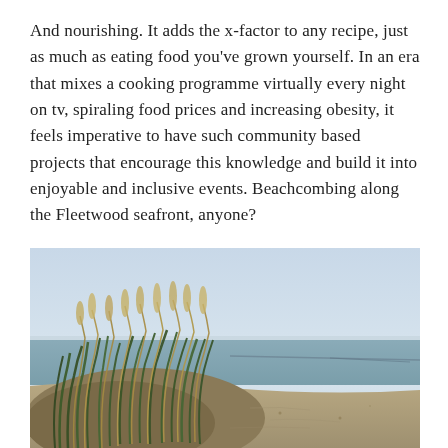And nourishing. It adds the x-factor to any recipe, just as much as eating food you've grown yourself. In an era that mixes a cooking programme virtually every night on tv, spiraling food prices and increasing obesity, it feels imperative to have such community based projects that encourage this knowledge and build it into enjoyable and inclusive events. Beachcombing along the Fleetwood seafront, anyone?
[Figure (photo): Photograph of coastal sand dunes with tall beach grass/marram grass clumps in the foreground, sandy beach and calm sea/estuary in the background under a pale overcast sky.]